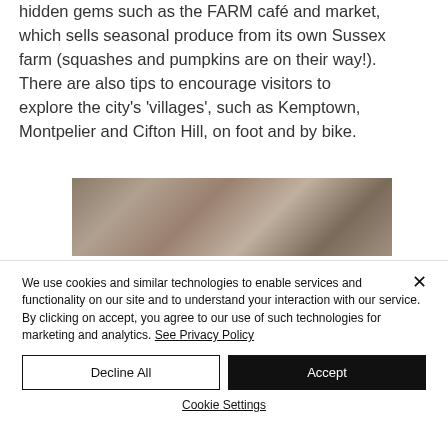hidden gems such as the FARM café and market, which sells seasonal produce from its own Sussex farm (squashes and pumpkins are on their way!). There are also tips to encourage visitors to explore the city's 'villages', such as Kemptown, Montpelier and Cifton Hill, on foot and by bike.
[Figure (photo): Partial photograph showing people, cropped at top of cookie banner overlay]
We use cookies and similar technologies to enable services and functionality on our site and to understand your interaction with our service. By clicking on accept, you agree to our use of such technologies for marketing and analytics. See Privacy Policy
Decline All
Accept
Cookie Settings